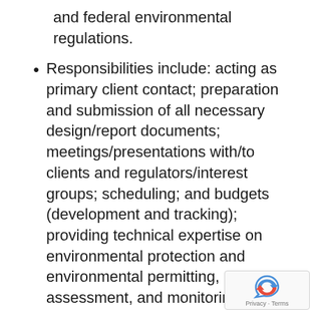and federal environmental regulations.
Responsibilities include: acting as primary client contact; preparation and submission of all necessary design/report documents; meetings/presentations with/to clients and regulators/interest groups; scheduling; and budgets (development and tracking); providing technical expertise on environmental protection and environmental permitting, assessment, and monitoring.
Evaluate fisheries and aquatics programs and provide technica…